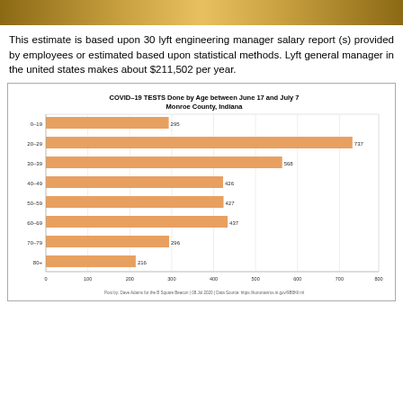[Figure (photo): Top banner image showing people, warm golden tones]
This estimate is based upon 30 lyft engineering manager salary report (s) provided by employees or estimated based upon statistical methods. Lyft general manager in the united states makes about $211,502 per year.
[Figure (bar-chart): COVID–19 TESTS Done by Age between June 17 and July 7 Monroe County, Indiana]